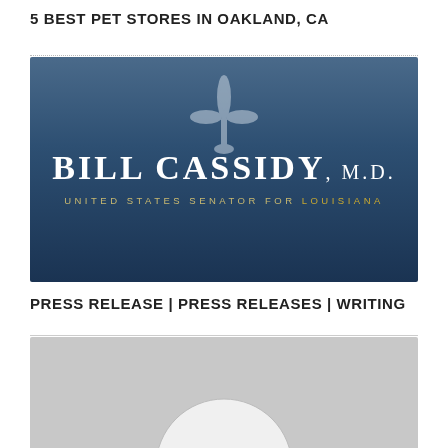5 BEST PET STORES IN OAKLAND, CA
[Figure (logo): Bill Cassidy, M.D. - United States Senator for Louisiana. Blue gradient background with white text 'BILL CASSIDY, M.D.' and subtitle 'UNITED STATES SENATOR FOR LOUISIANA' with gold accent for 'LOUISIANA'. A fleur-de-lis emblem is centered above the text.]
PRESS RELEASE | PRESS RELEASES | WRITING
[Figure (photo): Partially visible photo with grey/silver background showing the top of a white circular shape (likely a person's head/portrait) at the bottom center, cut off at the page edge.]